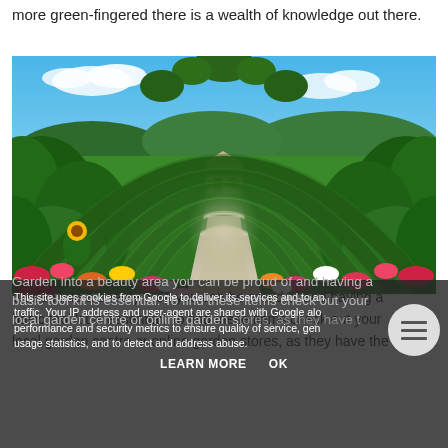more green-fingered there is a wealth of knowledge out there.
[Figure (photo): A beautiful garden with green arched trellises covered in climbing plants forming a tunnel over a gravel path leading to a house in the background, with colorful flowers on both sides under a bright blue sky with white clouds.]
This site uses cookies from Google to deliver its services and to analyze traffic. Your IP address and user-agent are shared with Google along with performance and security metrics to ensure quality of service, generate usage statistics, and to detect and address abuse.
LEARN MORE    OK
garden into a beauty area you can be proud of and having a basic tool kit is essential. To find these items check out your local garden centre or online garden stores, as they have the